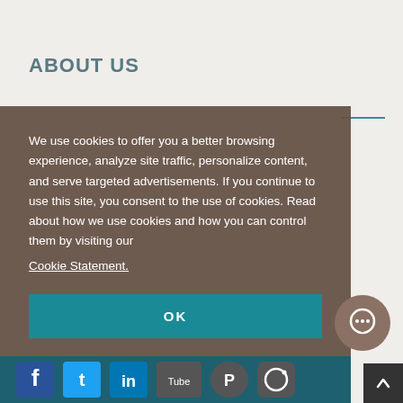ABOUT US
We use cookies to offer you a better browsing experience, analyze site traffic, personalize content, and serve targeted advertisements. If you continue to use this site, you consent to the use of cookies. Read about how we use cookies and how you can control them by visiting our Cookie Statement.
OK
[Figure (other): Social media icons strip at bottom: Facebook, Twitter, LinkedIn, YouTube, Pinterest, Instagram]
[Figure (other): Chat bubble circular icon button in brown/taupe color]
[Figure (other): Scroll to top arrow button in dark grey]